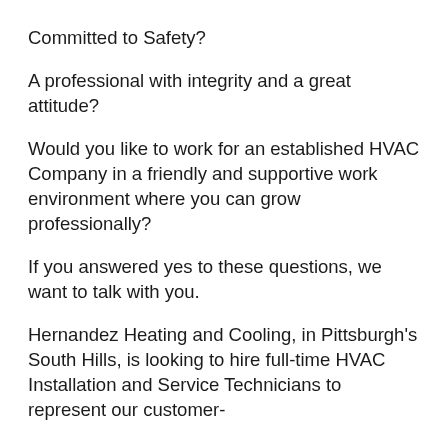Committed to Safety?
A professional with integrity and a great attitude?
Would you like to work for an established HVAC Company in a friendly and supportive work environment where you can grow professionally?
If you answered yes to these questions, we want to talk with you.
Hernandez Heating and Cooling, in Pittsburgh's South Hills, is looking to hire full-time HVAC Installation and Service Technicians to represent our customer-